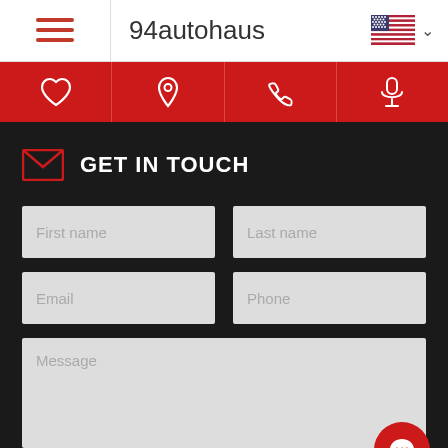94autohaus
[Figure (screenshot): Red navigation bar with four icons: heart, location pin, phone, microphone]
GET IN TOUCH
First name
Last name
Email
Phone
Message